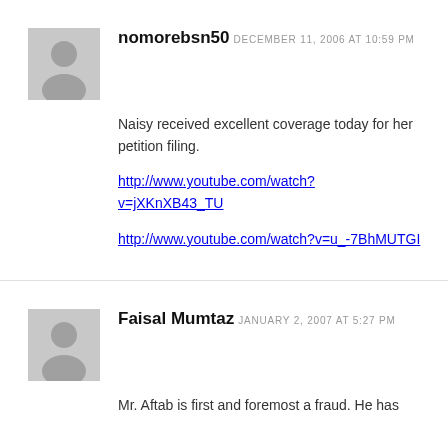nomorebsn50
DECEMBER 11, 2006 AT 10:59 PM
Naisy received excellent coverage today for her petition filing.

http://www.youtube.com/watch?v=jXKnXB43_TU

http://www.youtube.com/watch?v=u_-7BhMUTGI
Faisal Mumtaz
JANUARY 2, 2007 AT 5:27 PM
Mr. Aftab is first and foremost a fraud. He has